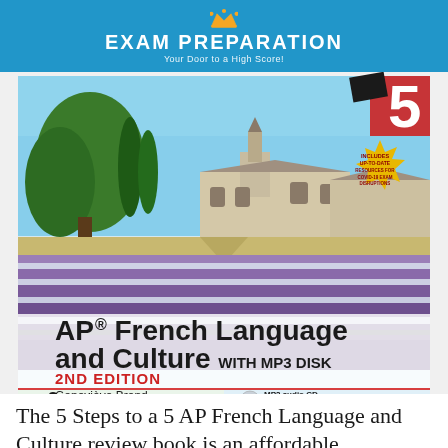EXAM PREPARATION — Your Door to a High Score!
[Figure (photo): Book cover of 'AP French Language and Culture with MP3 Disk, 2nd Edition' by Geneviève Brand. Features a lavender field with a monastery in the background. Includes a yellow starburst badge reading 'Includes Up-to-Date Resources for COVID-19 Exam Disruptions'. Bottom strip shows: 3 practice exams, MP3 audio CD with listening comprehension and speaking practice.]
The 5 Steps to a 5 AP French Language and Culture review book is an affordable